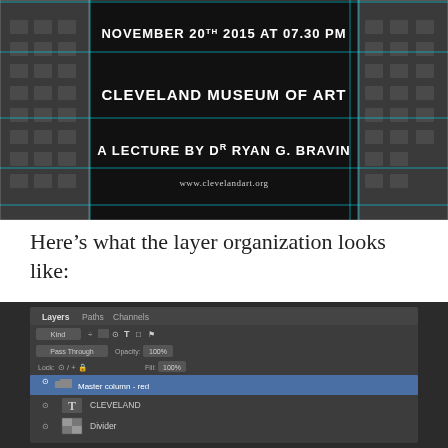[Figure (screenshot): Screenshot of a design/layout with a dark architectural background (skyscraper in black and white) with white text reading: NOVEMBER 20TH 2015 AT 07.30 PM, CLEVELAND MUSEUM OF ART, A LECTURE BY Dr RYAN G. BRAVIN, www.clevelandart.org. Cyan guide lines are visible overlaid on the design.]
Here’s what the layer organization looks like:
[Figure (screenshot): Screenshot of Adobe Photoshop Layers panel showing a dark UI with tabs: Layers, Paths, Channels. Kind dropdown, Pass Through blend mode, Opacity: 100%, Lock options, Fill: 100%. A group layer named 'Master column - red' is highlighted in blue. Below it are individual layers: a T (text) layer labeled 'CLEVELAND', and a layer labeled 'Divider' with a thumbnail.]